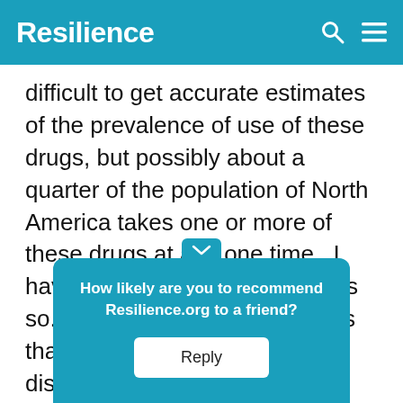Resilience
difficult to get accurate estimates of the prevalence of use of these drugs, but possibly about a quarter of the population of North America takes one or more of these drugs at any one time.  I have often wondered why this is so.  One possible explanation is that people feel a cognitive dissonance in today's society which makes them f[...] ble.  I feel th[...] n the words[...] omists
How likely are you to recommend Resilience.org to a friend? Reply